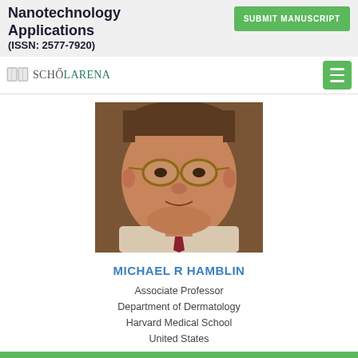Nanotechnology Applications (ISSN: 2577-7920)
[Figure (logo): ScholarArena logo with book icon]
[Figure (photo): Portrait photo of Michael R Hamblin, a middle-aged man with glasses wearing a checkered shirt and tie]
MICHAEL R HAMBLIN
Associate Professor
Department of Dermatology
Harvard Medical School
United States